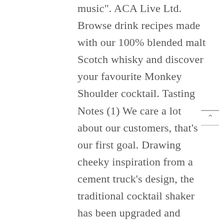music". ACA Live Ltd. Browse drink recipes made with our 100% blended malt Scotch whisky and discover your favourite Monkey Shoulder cocktail. Tasting Notes (1) We care a lot about our customers, that’s our first goal. Drawing cheeky inspiration from a cement truck's design, the traditional cocktail shaker has been upgraded and transformed into the ultimate cocktail machine, with a capacity of 123,000 bottles of Monkey Shoulder